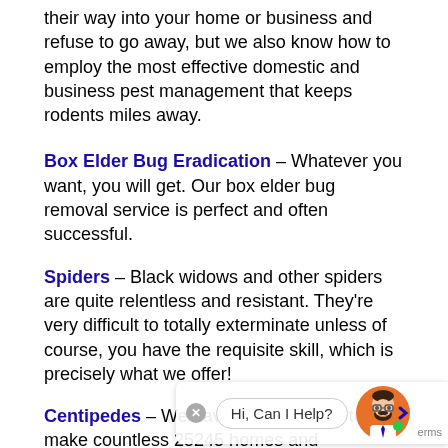their way into your home or business and refuse to go away, but we also know how to employ the most effective domestic and business pest management that keeps rodents miles away.
Box Elder Bug Eradication – Whatever you want, you will get. Our box elder bug removal service is perfect and often successful.
Spiders – Black widows and other spiders are quite relentless and resistant. They're very difficult to totally exterminate unless of course, you have the requisite skill, which is precisely what we offer!
Centipedes – We have been working to make countless 25245 homes and establishments free of centipede for several years. We are accomplishing great centipede removal outcomes that will satisfy our customers.